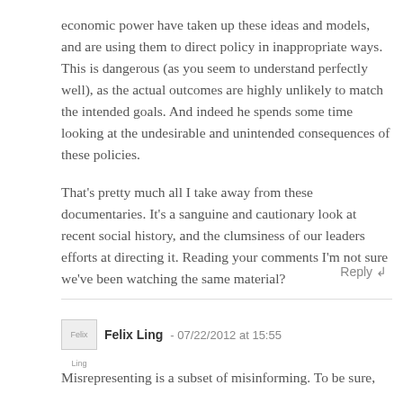economic power have taken up these ideas and models, and are using them to direct policy in inappropriate ways. This is dangerous (as you seem to understand perfectly well), as the actual outcomes are highly unlikely to match the intended goals. And indeed he spends some time looking at the undesirable and unintended consequences of these policies.

That's pretty much all I take away from these documentaries. It's a sanguine and cautionary look at recent social history, and the clumsiness of our leaders efforts at directing it. Reading your comments I'm not sure we've been watching the same material?
Reply ↲
Felix Ling - 07/22/2012 at 15:55
Misrepresenting is a subset of misinforming. To be sure,